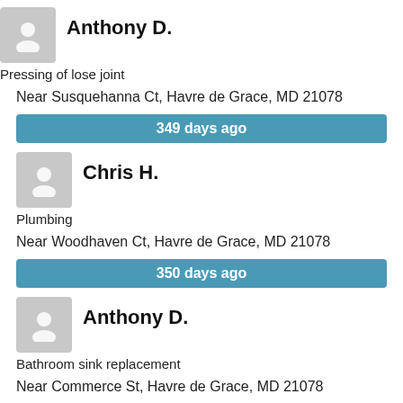Anthony D.
Pressing of lose joint
Near Susquehanna Ct, Havre de Grace, MD 21078
349 days ago
Chris H.
Plumbing
Near Woodhaven Ct, Havre de Grace, MD 21078
350 days ago
Anthony D.
Bathroom sink replacement
Near Commerce St, Havre de Grace, MD 21078